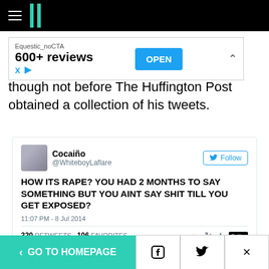Huffington Post navigation bar
[Figure (screenshot): Advertisement banner: Equestic_noCTA, 600+ reviews, OPEN button]
though not before The Huffington Post obtained a collection of his tweets.
[Figure (screenshot): Tweet by Cocaiño @WhiteboyLaflare: HOW ITS RAPE? YOU HAD 2 MONTHS TO SAY SOMETHING BUT YOU AINT SAY SHIT TILL YOU GET EXPOSED? 11:07 PM - 8 Jul 2014. 320 RETWEETS 106 FAVORITES]
None of these people were there that night, and dont
< GO TO HOMEPAGE | Facebook | Twitter | X